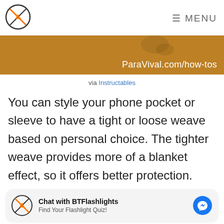ParaVival.com/how-tos MENU
[Figure (photo): Brown/sandy background banner image with a crab, showing URL ParaVival.com/how-tos in white text]
via Instructables
You can style your phone pocket or sleeve to have a tight or loose weave based on personal choice. The tighter weave provides more of a blanket effect, so it offers better protection.
[Figure (infographic): Chat widget: Chat with BTFlashlights - Find Your Flashlight Quiz! with Messenger icon]
than carrying around a phone